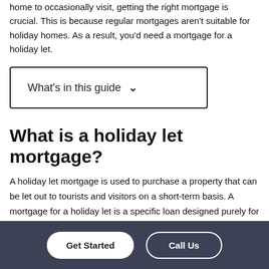home to occasionally visit, getting the right mortgage is crucial. This is because regular mortgages aren't suitable for holiday homes. As a result, you'd need a mortgage for a holiday let.
[Figure (other): A collapsible box with the label 'What's in this guide' and a downward chevron arrow, indicating an expandable table of contents section.]
What is a holiday let mortgage?
A holiday let mortgage is used to purchase a property that can be let out to tourists and visitors on a short-term basis. A mortgage for a holiday let is a specific loan designed purely for investment purposes.
Get Started  Call Us